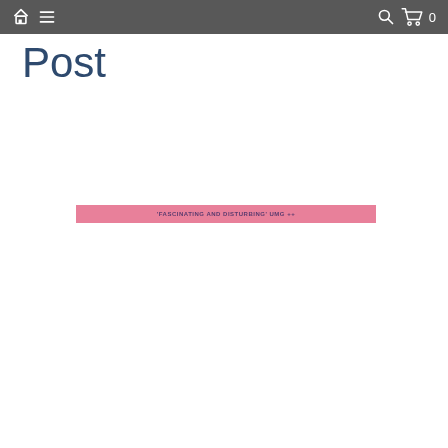Home Menu Search Cart 0
Post
[Figure (infographic): Pink horizontal banner with text 'FASCINATING AND DISTURBING' UMG ++ in small dark purple bold uppercase letters centered on the banner]